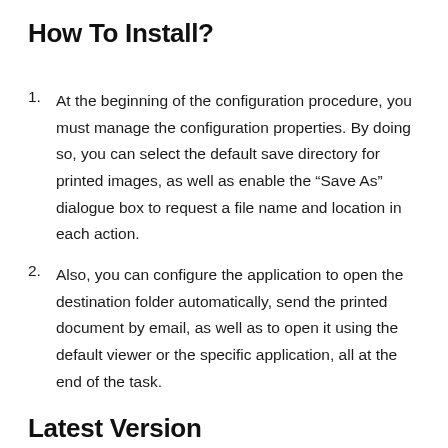How To Install?
At the beginning of the configuration procedure, you must manage the configuration properties. By doing so, you can select the default save directory for printed images, as well as enable the “Save As” dialogue box to request a file name and location in each action.
Also, you can configure the application to open the destination folder automatically, send the printed document by email, as well as to open it using the default viewer or the specific application, all at the end of the task.
Latest Version